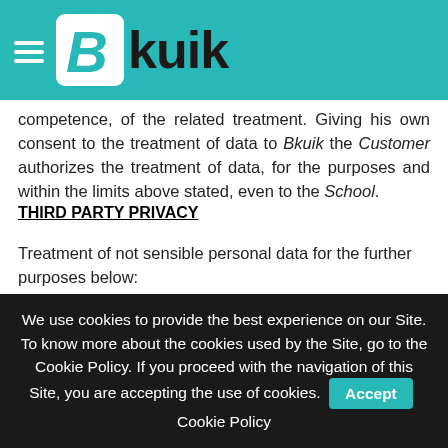[Figure (logo): Bkuik logo with hamburger menu icon on teal/turquoise header background]
competence, of the related treatment. Giving his own consent to the treatment of data to Bkuik the Customer authorizes the treatment of data, for the purposes and within the limits above stated, even to the School.
THIRD PARTY PRIVACY
Treatment of not sensible personal data for the further purposes below:
• for marketing purposes, sending of advertising material and sale
We use cookies to provide the best experience on our Site. To know more about the cookies used by the Site, go to the Cookie Policy. If you proceed with the navigation of this Site, you are accepting the use of cookies. Accept Cookie Policy